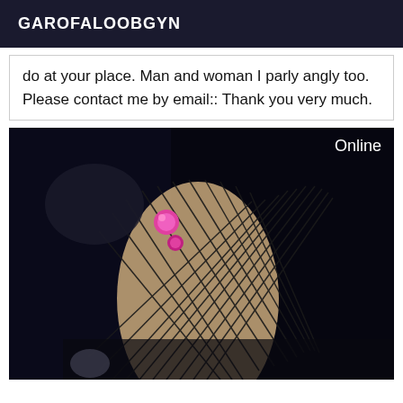GAROFALOOBGYN
do at your place. Man and woman I parly angly too. Please contact me by email:: Thank you very much.
[Figure (photo): A dark photograph showing legs in fishnet stockings with a pink jeweled accessory, against a dark background. An 'Online' badge appears in the top right corner.]